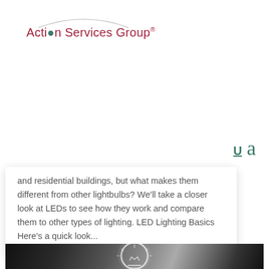Action Services Group
and residential buildings, but what makes them different from other lightbulbs? We'll take a closer look at LEDs to see how they work and compare them to other types of lighting. LED Lighting Basics Here's a quick look...
[Figure (photo): A hand holding a glowing light bulb outline illustration against a blurred background, symbolizing LED lighting concepts.]